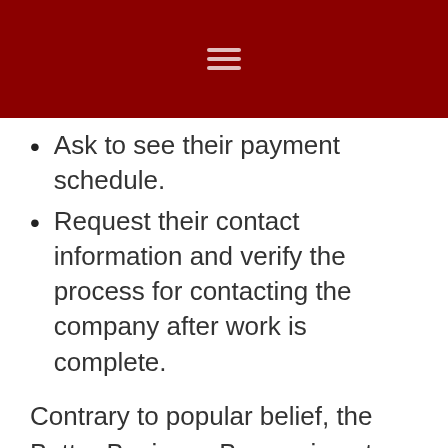Ask to see their payment schedule.
Request their contact information and verify the process for contacting the company after work is complete.
Contrary to popular belief, the Better Business Bureau is not always a reliable way to verify the reliability of a company. Getting accredited by the BBB is an easy process and negative reviews can take 3 to 6 months or more to show up. So companies that have only recently become accredited may not